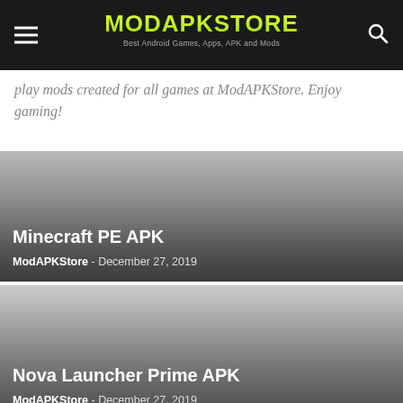MODAPKSTORE — Best Android Games, Apps, APK and Mods
play mods created for all games at ModAPKStore. Enjoy gaming!
[Figure (screenshot): Minecraft PE APK article card with gradient gray background]
Minecraft PE APK — ModAPKStore - December 27, 2019
[Figure (screenshot): Nova Launcher Prime APK article card with gradient gray background]
Nova Launcher Prime APK — ModAPKStore - December 27, 2019